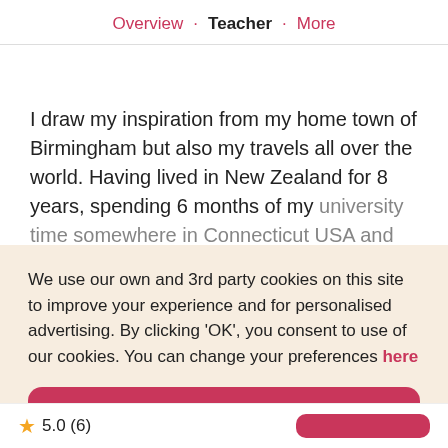Overview · Teacher · More
I draw my inspiration from my home town of Birmingham but also my travels all over the world. Having lived in New Zealand for 8 years, spending 6 months of my university time somewhere in Connecticut USA and...
We use our own and 3rd party cookies on this site to improve your experience and for personalised advertising. By clicking 'OK', you consent to use of our cookies. You can change your preferences here
OK
★ 5.0 (6)